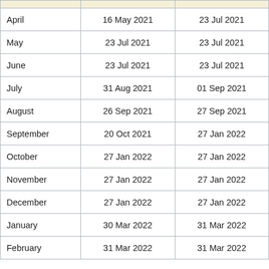|  |  |  |
| --- | --- | --- |
| April | 16 May 2021 | 23 Jul 2021 |
| May | 23 Jul 2021 | 23 Jul 2021 |
| June | 23 Jul 2021 | 23 Jul 2021 |
| July | 31 Aug 2021 | 01 Sep 2021 |
| August | 26 Sep 2021 | 27 Sep 2021 |
| September | 20 Oct 2021 | 27 Jan 2022 |
| October | 27 Jan 2022 | 27 Jan 2022 |
| November | 27 Jan 2022 | 27 Jan 2022 |
| December | 27 Jan 2022 | 27 Jan 2022 |
| January | 30 Mar 2022 | 31 Mar 2022 |
| February | 31 Mar 2022 | 31 Mar 2022 |